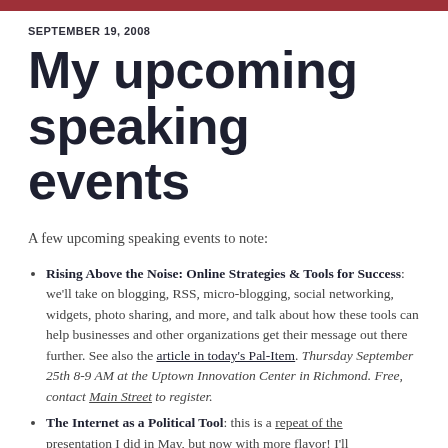SEPTEMBER 19, 2008
My upcoming speaking events
A few upcoming speaking events to note:
Rising Above the Noise: Online Strategies & Tools for Success: we'll take on blogging, RSS, micro-blogging, social networking, widgets, photo sharing, and more, and talk about how these tools can help businesses and other organizations get their message out there further. See also the article in today's Pal-Item. Thursday September 25th 8-9 AM at the Uptown Innovation Center in Richmond. Free, contact Main Street to register.
The Internet as a Political Tool: this is a repeat of the presentation I did in May, but now with more flavor! I'll